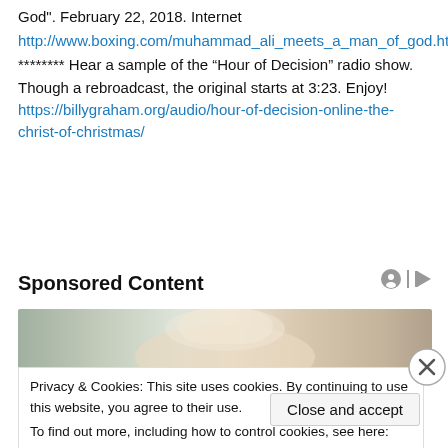God". February 22, 2018. Internet http://www.boxing.com/muhammad_ali_meets_a_man_of_god.html ******** Hear a sample of the “Hour of Decision” radio show. Though a rebroadcast, the original starts at 3:23. Enjoy! https://billygraham.org/audio/hour-of-decision-online-the-christ-of-christmas/
Sponsored Content
[Figure (photo): Partial photo of a blonde woman with eyes closed, top portion visible]
Privacy & Cookies: This site uses cookies. By continuing to use this website, you agree to their use.
To find out more, including how to control cookies, see here: Cookie Policy
Close and accept